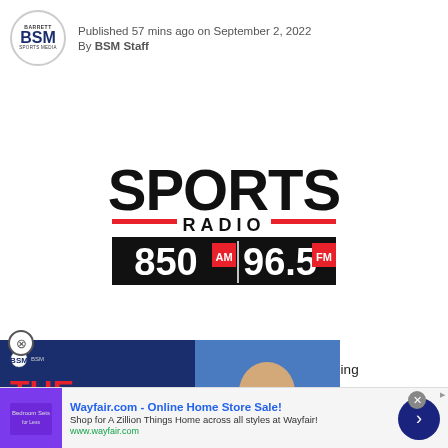Published 57 mins ago on September 2, 2022
By BSM Staff
[Figure (logo): Sports Radio 850 AM / 96.5 FM logo — large bold black SPORTS text, red horizontal lines flanking RADIO text, black box with 850 AM | 96.5 FM]
[Figure (infographic): The Jason Barrett Podcast ad overlay with Paul Finebaum image and 'PAUL FINEBAUM KNOWS THE POWER' red banner]
ed it's sports programming
[Figure (infographic): Wayfair.com Online Home Store Sale advertisement banner — 'Shop for A Zillion Things Home across all styles at Wayfair!' www.wayfair.com]